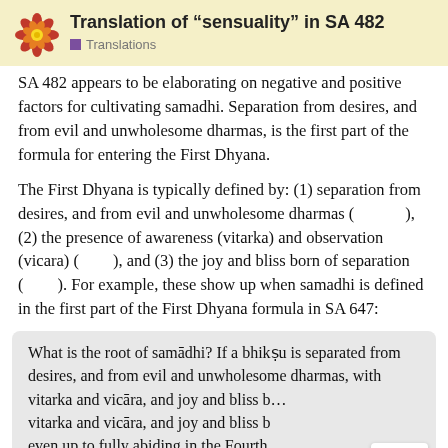Translation of “sensuality” in SA 482 | Translations
SA 482 appears to be elaborating on negative and positive factors for cultivating samadhi. Separation from desires, and from evil and unwholesome dharmas, is the first part of the formula for entering the First Dhyana.
The First Dhyana is typically defined by: (1) separation from desires, and from evil and unwholesome dharmas (      ), (2) the presence of awareness (vitarka) and observation (vicara) (   ), and (3) the joy and bliss born of separation (   ). For example, these show up when samadhi is defined in the first part of the First Dhyana formula in SA 647:
What is the root of samādhi? If a bhikṣu is separated from desires, and from evil and unwholesome dharmas, with vitarka and vicāra, and joy and bliss b… even up to fully abiding in the Fourth…
1 / 4